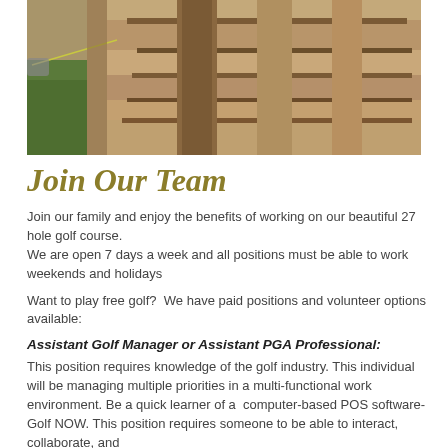[Figure (photo): Aerial/ground-level photo of a golf course construction site showing dirt trenches and excavation work on sandy soil next to green grass]
Join Our Team
Join our family and enjoy the benefits of working on our beautiful 27 hole golf course.
We are open 7 days a week and all positions must be able to work weekends and holidays
Want to play free golf?  We have paid positions and volunteer options available:
Assistant Golf Manager or Assistant PGA Professional:
This position requires knowledge of the golf industry. This individual will be managing multiple priorities in a multi-functional work environment. Be a quick learner of a  computer-based POS software- Golf NOW. This position requires someone to be able to interact, collaborate, and